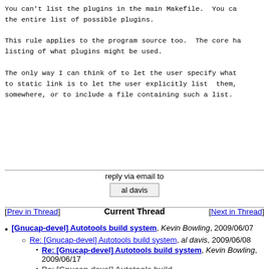You can't list the plugins in the main Makefile.  You can the entire list of possible plugins.

This rule applies to the program source too.  The core ha listing of what plugins might be used.

The only way I can think of to let the user specify what to static link is to let the user explicitly list  them, somewhere, or to include a file containing such a list.
reply via email to
al davis
[Prev in Thread]    Current Thread    [Next in Thread]
[Gnucap-devel] Autotools build system, Kevin Bowling, 2009/06/07
Re: [Gnucap-devel] Autotools build system, al davis, 2009/06/08
Re: [Gnucap-devel] Autotools build system, Kevin Bowling, 2009/06/17
Re: [Gnucap-devel] Autotools build